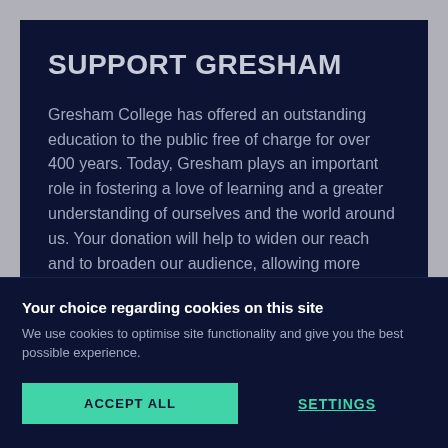SUPPORT GRESHAM
Gresham College has offered an outstanding education to the public free of charge for over 400 years. Today, Gresham plays an important role in fostering a love of learning and a greater understanding of ourselves and the world around us. Your donation will help to widen our reach and to broaden our audience, allowing more people to
Your choice regarding cookies on this site
We use cookies to optimise site functionality and give you the best possible experience.
ACCEPT ALL
SETTINGS